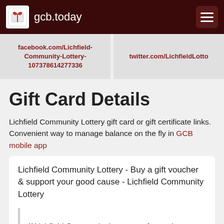gcb.today
facebook.com/Lichfield-Community-Lottery-107378614277336
twitter.com/LichfieldLotto
Gift Card Details
Lichfield Community Lottery gift card or gift certificate links. Convenient way to manage balance on the fly in GCB mobile app
Lichfield Community Lottery - Buy a gift voucher & support your good cause - Lichfield Community Lottery
“ Lichfield Community Lottery - a fun and easy way to support good causes in area of Lichfield! ”